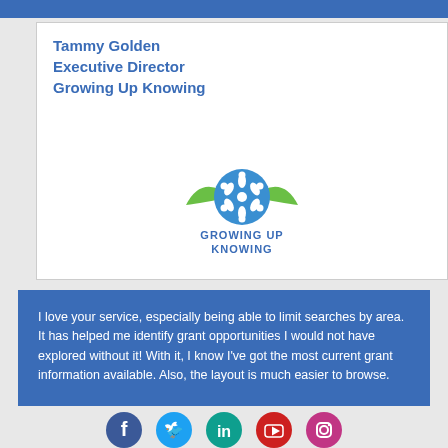Tammy Golden
Executive Director
Growing Up Knowing
[Figure (logo): Growing Up Knowing logo — blue snowflake-like flower inside green oval leaves with blue text 'Growing Up Knowing' below]
I love your service, especially being able to limit searches by area. It has helped me identify grant opportunities I would not have explored without it! With it, I know I've got the most current grant information available. Also, the layout is much easier to browse.
[Figure (other): Row of five social media icons: Facebook (dark blue), Twitter (light blue), LinkedIn (teal/green), YouTube (red), Instagram (pink/red)]